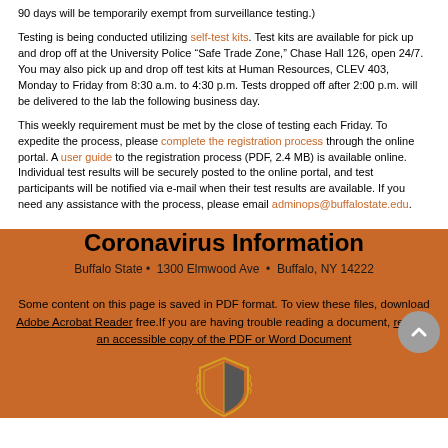90 days will be temporarily exempt from surveillance testing.)
Testing is being conducted utilizing self-test kits. Test kits are available for pick up and drop off at the University Police “Safe Trade Zone,” Chase Hall 126, open 24/7. You may also pick up and drop off test kits at Human Resources, CLEV 403, Monday to Friday from 8:30 a.m. to 4:30 p.m. Tests dropped off after 2:00 p.m. will be delivered to the lab the following business day.
This weekly requirement must be met by the close of testing each Friday. To expedite the process, please complete the registration process through the online portal. A user guide to the registration process (PDF, 2.4 MB) is available online. Individual test results will be securely posted to the online portal, and test participants will be notified via e-mail when their test results are available. If you need any assistance with the process, please email adminops@buffalostate.edu.
Coronavirus Information
Buffalo State •  1300 Elmwood Ave  •  Buffalo, NY 14222
Some content on this page is saved in PDF format. To view these files, download Adobe Acrobat Reader free.If you are having trouble reading a document, request an accessible copy of the PDF or Word Document
[Figure (logo): Buffalo State shield/logo partially visible at the bottom of the orange footer section]